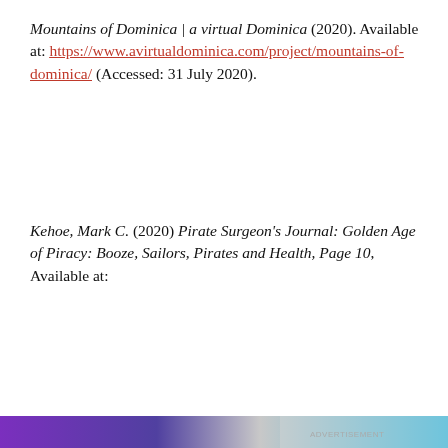Mountains of Dominica | a virtual Dominica (2020). Available at: https://www.avirtualdominica.com/project/mountains-of-dominica/ (Accessed: 31 July 2020).
Kehoe, Mark C. (2020) Pirate Surgeon's Journal: Golden Age of Piracy: Booze, Sailors, Pirates and Health, Page 10, Available at:
[Figure (screenshot): Cookie consent popup with text: 'Privacy & Cookies: This site uses cookies. By continuing to use this website, you agree to their use. To find out more, including how to control cookies, see here: Cookie Policy' with a close button (X) and a 'Close and accept' button.]
[Figure (other): Bottom banner/advertisement strip with purple gradient on the left and light blue on the right.]